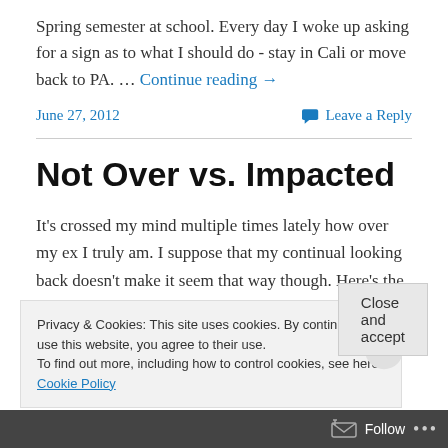Spring semester at school. Every day I woke up asking for a sign as to what I should do - stay in Cali or move back to PA. … Continue reading →
June 27, 2012   Leave a Reply
Not Over vs. Impacted
It's crossed my mind multiple times lately how over my ex I truly am. I suppose that my continual looking back doesn't make it seem that way though. Here's the thing - I really
Privacy & Cookies: This site uses cookies. By continuing to use this website, you agree to their use.
To find out more, including how to control cookies, see here: Cookie Policy
Close and accept
Follow ...